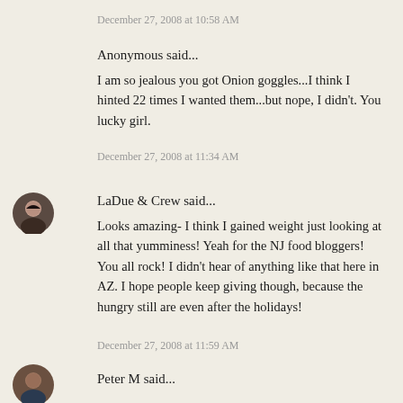December 27, 2008 at 10:58 AM
Anonymous said...
I am so jealous you got Onion goggles...I think I hinted 22 times I wanted them...but nope, I didn't. You lucky girl.
December 27, 2008 at 11:34 AM
[Figure (photo): Avatar of LaDue & Crew commenter, woman with dark hair]
LaDue & Crew said...
Looks amazing- I think I gained weight just looking at all that yumminess! Yeah for the NJ food bloggers! You all rock! I didn't hear of anything like that here in AZ. I hope people keep giving though, because the hungry still are even after the holidays!
December 27, 2008 at 11:59 AM
[Figure (photo): Avatar of Peter M commenter, man]
Peter M said...